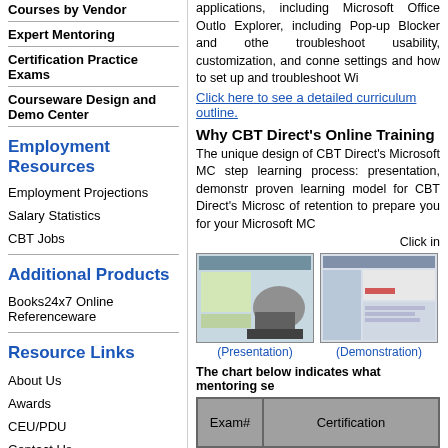Courses by Vendor
Expert Mentoring
Certification Practice Exams
Courseware Design and Demo Center
Employment Resources
Employment Projections
Salary Statistics
CBT Jobs
Additional Products
Books24x7 Online Referenceware
Resource Links
About Us
Awards
CEU/PDU
Contact Us
applications, including Microsoft Office Outlo Explorer, including Pop-up Blocker and othe troubleshoot usability, customization, and conne settings and how to set up and troubleshoot Wi
Click here to see a detailed curriculum outline.
Why CBT Direct's Online Training
The unique design of CBT Direct's Microsoft MC step learning process: presentation, demonstr proven learning model for CBT Direct's Microsc of retention to prepare you for your Microsoft MC
Click in
[Figure (screenshot): Screenshot thumbnail labeled Presentation]
(Presentation)
[Figure (screenshot): Screenshot thumbnail labeled Demonstration]
(Demonstration)
The chart below indicates what mentoring se
| Exam# | Certification |
| --- | --- |
| 70-680 | TS: Windows 7, Configuring |